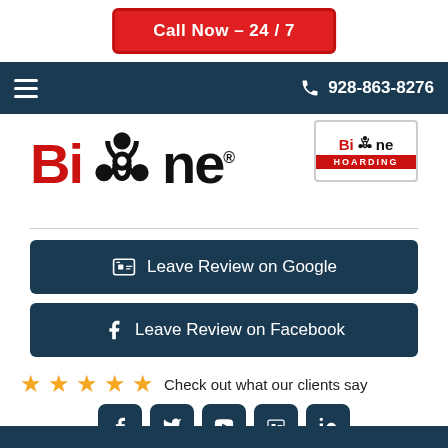Call Now – 24 / 7
928-863-8276
[Figure (logo): Bio-One biohazard cleanup company logo with biohazard symbol between Bi and ne text in red and black]
[Figure (logo): Bio One Hoarding small badge logo with biohazard symbol and red HOARDING banner]
Leave Review on Google
Leave Review on Facebook
★★★★★ Check out what our clients say
[Figure (infographic): Social media icons row: Facebook, Twitter, YouTube, Google My Business, LinkedIn]